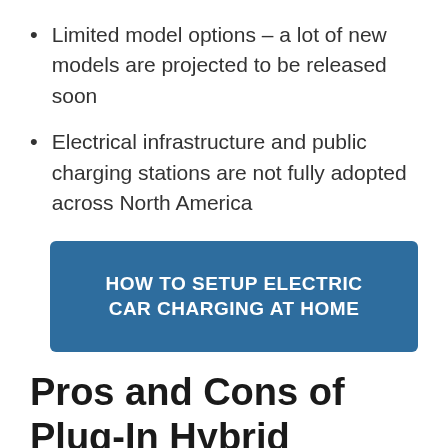Limited model options – a lot of new models are projected to be released soon
Electrical infrastructure and public charging stations are not fully adopted across North America
[Figure (infographic): Blue rounded rectangle button with white bold uppercase text: HOW TO SETUP ELECTRIC CAR CHARGING AT HOME]
Pros and Cons of Plug-In Hybrid Electric Vehicles (PHEVs)